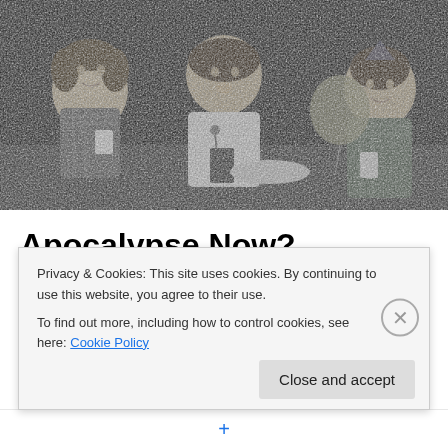[Figure (photo): Black and white vintage photograph of three children sitting at a table at what appears to be a birthday party. The left child is a girl with pigtails holding a white cup. The middle child is a girl with a bowl cut eating something. The right child is a boy wearing a plaid shirt with a balloon visible behind him.]
Apocalypse Now?
During my 2010 Christmas visit to Australia, my hometown
Privacy & Cookies: This site uses cookies. By continuing to use this website, you agree to their use.
To find out more, including how to control cookies, see here: Cookie Policy
Close and accept